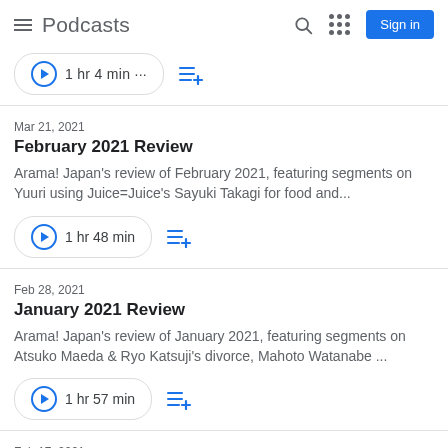Podcasts
[Figure (screenshot): Partial podcast episode row with play button pill and add-to-queue icon]
Mar 21, 2021
February 2021 Review
Arama! Japan's review of February 2021, featuring segments on Yuuri using Juice=Juice's Sayuki Takagi for food and...
[Figure (screenshot): Play button pill showing 1 hr 48 min and add-to-queue icon]
Feb 28, 2021
January 2021 Review
Arama! Japan's review of January 2021, featuring segments on Atsuko Maeda & Ryo Katsuji's divorce, Mahoto Watanabe ...
[Figure (screenshot): Play button pill showing 1 hr 57 min and add-to-queue icon]
Feb 17, 2021
Black History Month 2021